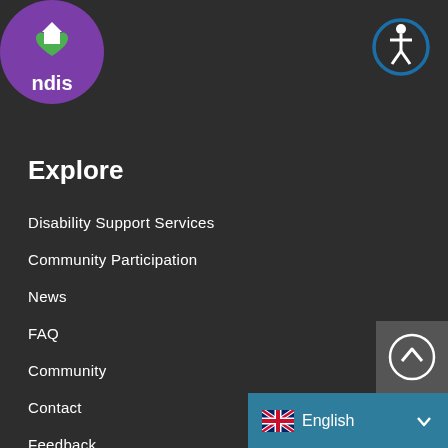[Figure (logo): NDIS logo - purple circle with heart and house icon above 'ndis' text in white]
[Figure (illustration): Accessibility icon - white person figure in a blue circle]
Explore
Disability Support Services
Community Participation
News
FAQ
Community
Contact
Feedback
[Figure (illustration): Back to top button - upward arrow in a circle on grey background]
[Figure (illustration): Language selector showing UK flag and 'English' text with dropdown arrow on teal background]